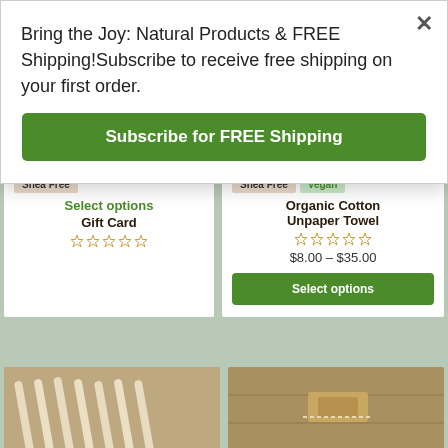Bring the Joy: Natural Products & FREE Shipping!Subscribe to receive free shipping on your first order.
Subscribe for FREE Shipping
Shea Free
Select options
Gift Card
Shea Free
Vegan
Organic Cotton Unpaper Towel
$8.00 – $35.00
Select options
[Figure (photo): Rolled white/cream wood sticks or paper straws on a wooden surface]
[Figure (photo): A small wooden block or stamp item on a wooden plank surface]